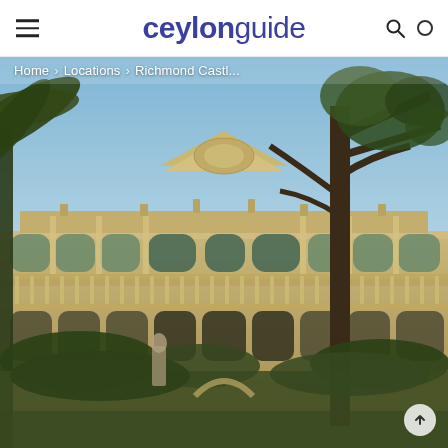ceylonguide
Home › Locations › Richmond Castl...
[Figure (photo): Exterior view of Richmond Castle, Sri Lanka — a large colonial-era yellow building with arched colonnades, ornate pediment, and balustraded terraces, surrounded by trees including a bare tree and palm fronds, under a blue sky.]